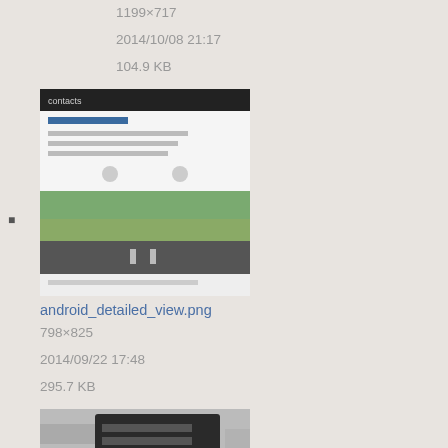1199×717
2014/10/08 21:17
104.9 KB
[Figure (screenshot): Thumbnail of android detailed view PNG showing a mobile app screen with a map/street photo]
android_detailed_view.png
798×825
2014/09/22 17:48
295.7 KB
[Figure (screenshot): Thumbnail of android diagram PNG showing a dark UI overlay/popup]
android_diagram.png
1020×603
2014/09/15 16:38
156.1 KB
[Figure (screenshot): Thumbnail of another android PNG showing a dark icon with horizontal bars]